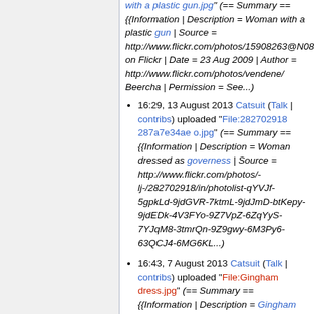with a plastic gun.jpg" (== Summary == {{Information | Description = Woman with a plastic gun | Source = http://www.flickr.com/photos/15908263@N0... on Flickr | Date = 23 Aug 2009 | Author = http://www.flickr.com/photos/vendene/Beercha | Permission = See...)
16:29, 13 August 2013 Catsuit (Talk | contribs) uploaded "File:282702918 287a7e34ae o.jpg" (== Summary == {{Information | Description = Woman dressed as governess | Source = http://www.flickr.com/photos/-lj-/282702918/in/photolist-qYVJf-5gpkLd-9jdGVR-7ktmL-9jdJmD-btKepy-9jdEDk-4V3FYo-9Z7VpZ-6ZqYyS-7YJqM8-3tmrQn-9Z9gwy-6M3Py6-63QCJ4-6MG6KL...)
16:43, 7 August 2013 Catsuit (Talk | contribs) uploaded "File:Gingham dress.jpg" (== Summary == {{Information | Description = Gingham dress | Source = http://kinkipedia.wdfiles.com/local--